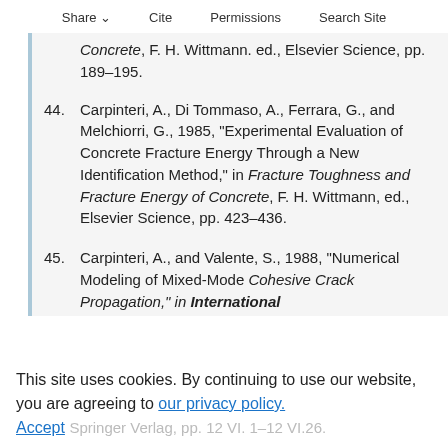Share  Cite  Permissions  Search Site
Concrete, F. H. Wittmann. ed., Elsevier Science, pp. 189–195.
44. Carpinteri, A., Di Tommaso, A., Ferrara, G., and Melchiorri, G., 1985, "Experimental Evaluation of Concrete Fracture Energy Through a New Identification Method," in Fracture Toughness and Fracture Energy of Concrete, F. H. Wittmann, ed., Elsevier Science, pp. 423–436.
45. Carpinteri, A., and Valente, S., 1988, "Numerical Modeling of Mixed-Mode Cohesive Crack Propagation," in International...
This site uses cookies. By continuing to use our website, you are agreeing to our privacy policy. Accept  Springer Verlag, pp. 12 VI. 1–12 VI.26.